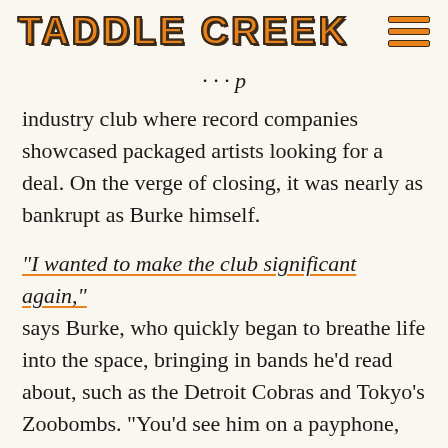TADDLE CREEK
industry club where record companies showcased packaged artists looking for a deal. On the verge of closing, it was nearly as bankrupt as Burke himself.
“I wanted to make the club significant again,” says Burke, who quickly began to breathe life into the space, bringing in bands he’d read about, such as the Detroit Cobras and Tokyo’s Zoobombs. “You’d see him on a payphone, booking some band from Memphis that nobody in Toronto had even heard of,” says Clint Rogerson, who plays in